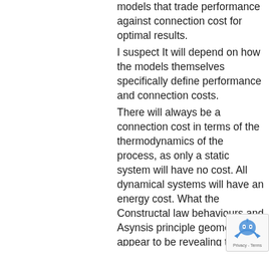models that trade performance against connection cost for optimal results.
I suspect It will depend on how the models themselves specifically define performance and connection costs.
There will always be a connection cost in terms of the thermodynamics of the process, as only a static system will have no cost. All dynamical systems will have an energy cost. What the Constructal law behaviours and Asynsis principle geometries appear to be revealing to us is that even with a minimal (flowing most easily-least action), energy cost/entropy production scenario – you will see modularity evolve in time, with often (subject to selection pressures and deterministic/chaotic contingencies), greater force, hierarchy and consequent complexity.
These modules (such as in the bands of order versus bands of chaos in the analogous Feigenbaum diagram), will also break down and reform, according to certain parameters and constants; including the one associated with the Asynsis principle, the golden ratio – which emerges as an asymptotic convergence associated with each bifurcation node.
Information evolves to flow analogically and optimally... entropy.
In so doing, it self-designs its own flow, so even if there are
[Figure (other): reCAPTCHA badge with robot icon and Privacy - Terms text]